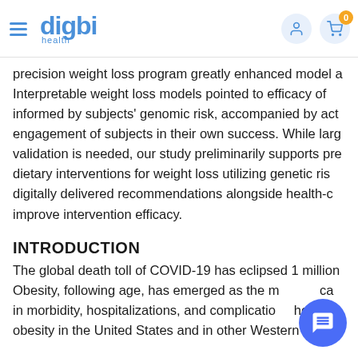digbi health — navigation bar with hamburger menu, user icon, cart icon with badge 0
precision weight loss program greatly enhanced model a Interpretable weight loss models pointed to efficacy of informed by subjects' genomic risk, accompanied by act engagement of subjects in their own success. While larg validation is needed, our study preliminarily supports pre dietary interventions for weight loss utilizing genetic ris digitally delivered recommendations alongside health-c improve intervention efficacy.
INTRODUCTION
The global death toll of COVID-19 has eclipsed 1 million Obesity, following age, has emerged as the m ca in morbidity, hospitalizations, and complicatio he of obesity in the United States and in other Western cou